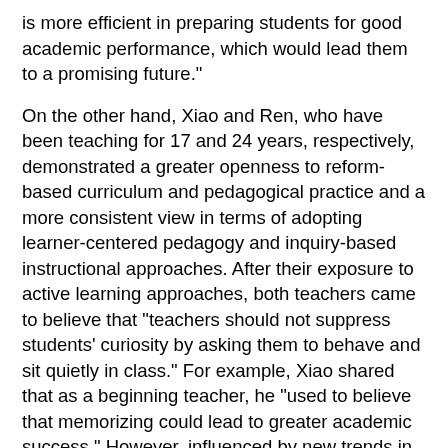is more efficient in preparing students for good academic performance, which would lead them to a promising future."
On the other hand, Xiao and Ren, who have been teaching for 17 and 24 years, respectively, demonstrated a greater openness to reform-based curriculum and pedagogical practice and a more consistent view in terms of adopting learner-centered pedagogy and inquiry-based instructional approaches. After their exposure to active learning approaches, both teachers came to believe that "teachers should not suppress students' curiosity by asking them to behave and sit quietly in class." For example, Xiao shared that as a beginning teacher, he "used to believe that memorizing could lead to greater academic success." However, influenced by new trends in science learning that he discovered through professional colleagues and the media, he came to realize that memorizing factual knowledge did not stimulate students' thinking and curiosity. Thus, Xiao decided to explore different ways of encouraging his students to discover their own interests in science. He